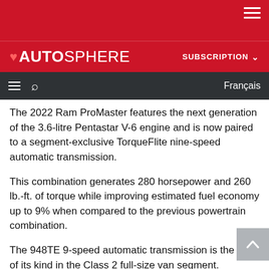AUTOSPHERE  SUBSCRIPTION
The 2022 Ram ProMaster features the next generation of the 3.6-litre Pentastar V-6 engine and is now paired to a segment-exclusive TorqueFlite nine-speed automatic transmission.
This combination generates 280 horsepower and 260 lb.-ft. of torque while improving estimated fuel economy up to 9% when compared to the previous powertrain combination.
The 948TE 9-speed automatic transmission is the first of its kind in the Class 2 full-size van segment.